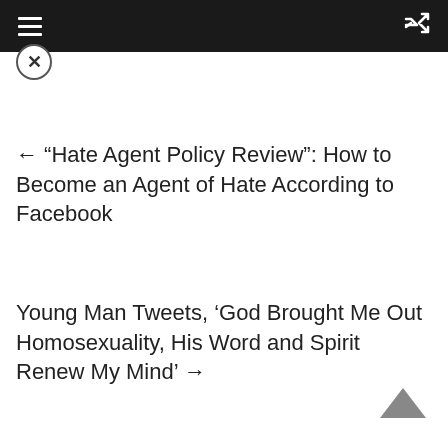Navigation bar with hamburger menu and shuffle icon
[Figure (other): Close/dismiss button (circled X icon) below the top navigation bar]
← “Hate Agent Policy Review”: How to Become an Agent of Hate According to Facebook
Young Man Tweets, ‘God Brought Me Out Homosexuality, His Word and Spirit Renew My Mind’ →
[Figure (other): Back to top chevron (up arrow) button in the bottom right corner]